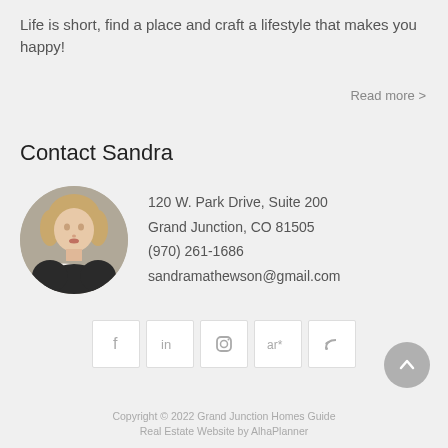Life is short, find a place and craft a lifestyle that makes you happy!
Read more >
Contact Sandra
[Figure (photo): Circular headshot photo of Sandra, a woman with short blonde hair, wearing a dark jacket and pearl necklace, against a grey background.]
120 W. Park Drive, Suite 200
Grand Junction, CO 81505
(970) 261-1686
sandramathewson@gmail.com
[Figure (infographic): Row of 5 social media icon boxes: Facebook (f), LinkedIn (in), Instagram (camera), ActiveRain (ar*), RSS feed icon]
[Figure (other): Grey circular scroll-to-top button with upward chevron arrow]
Copyright © 2022 Grand Junction Homes Guide
Real Estate Website by AlhaPlanner